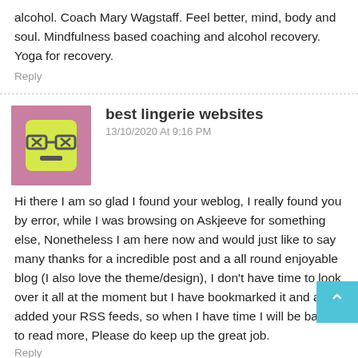alcohol. Coach Mary Wagstaff. Feel better, mind, body and soul. Mindfulness based coaching and alcohol recovery. Yoga for recovery.
Reply
best lingerie websites
13/10/2020 At 9:16 PM
Hi there I am so glad I found your weblog, I really found you by error, while I was browsing on Askjeeve for something else, Nonetheless I am here now and would just like to say many thanks for a incredible post and a all round enjoyable blog (I also love the theme/design), I don't have time to look over it all at the moment but I have bookmarked it and also added your RSS feeds, so when I have time I will be back to read more, Please do keep up the great job.
Reply
Neinstein LLP